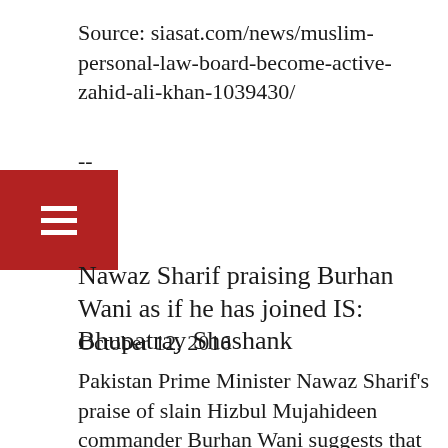Source: siasat.com/news/muslim-personal-law-board-become-active-zahid-ali-khan-1039430/
--
Nawaz Sharif praising Burhan Wani as if he has joined IS: Bhupatray Shashank
October 12, 2016
Pakistan Prime Minister Nawaz Sharif’s praise of slain Hizbul Mujahideen commander Burhan Wani suggests that he may have joined the Islamic State, or he is not aware about the difference between the Islamic State, Kashmir and Pakistan, said former foreign secretary Bhupatray Shashank. Shashank told ANI, “Burhan Wavi by his own